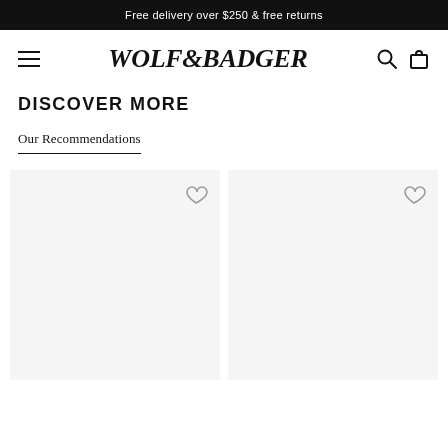Free delivery over $250 & free returns
[Figure (logo): Wolf & Badger logo with hamburger menu, search and bag icons]
DISCOVER MORE
Our Recommendations
[Figure (photo): Product card placeholder with heart/wishlist icon]
[Figure (photo): Product card placeholder with heart/wishlist icon]